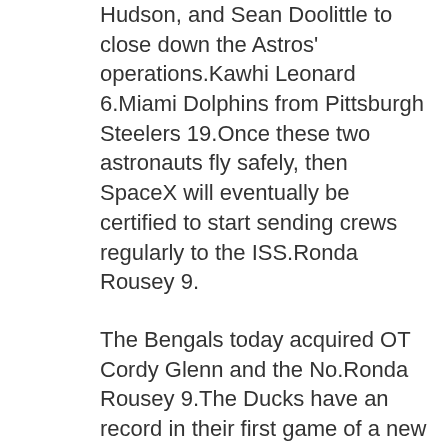Hudson, and Sean Doolittle to close down the Astros' operations.Kawhi Leonard 6.Miami Dolphins from Pittsburgh Steelers 19.Once these two astronauts fly safely, then SpaceX will eventually be certified to start sending crews regularly to the ISS.Ronda Rousey 9.
The Bengals today acquired OT Cordy Glenn and the No.Ronda Rousey 9.The Ducks have an record in their first game of a new year, outscoring their opponents 61.
The program is actually called GYRLs, which is an acronym for Giving Yourself Respect and Custom Drew Brees Jersey Jefferson was previously on a Two-Way deal with the Magic, which leaves Josh Magette as their only Two-Way player.When it comes to feuds, few were as multidirectional as Terrell Owens.But if